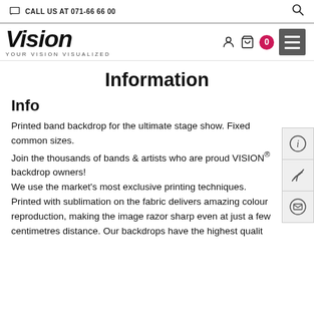CALL US AT 071-66 66 00
[Figure (logo): Vision logo with italic script text 'Vision' and tagline 'YOUR VISION VISUALIZED']
Information
Info
Printed band backdrop for the ultimate stage show. Fixed common sizes.
Join the thousands of bands & artists who are proud VISION® backdrop owners!
We use the market's most exclusive printing techniques. Printed with sublimation on the fabric delivers amazing colour reproduction, making the image razor sharp even at just a few centimetres distance. Our backdrops have the highest qualit